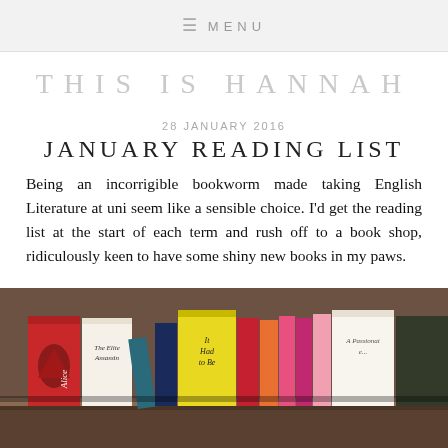≡ MENU
THIS IS HANNAH
28 JANUARY 2016
JANUARY READING LIST
Being an incorrigible bookworm made taking English Literature at uni seem like a sensible choice. I'd get the reading list at the start of each term and rush off to a book shop, ridiculously keen to have some shiny new books in my paws.
[Figure (photo): A photograph of a bookshelf showing several books including 'The Elite Assassin', 'It Had to Be', 'A Passionate...', and other colorful book spines arranged on a wooden shelf.]